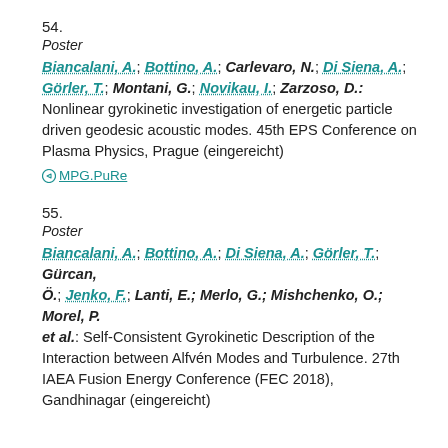54.
Poster
Biancalani, A.; Bottino, A.; Carlevaro, N.; Di Siena, A.; Görler, T.; Montani, G.; Novikau, I.; Zarzoso, D.: Nonlinear gyrokinetic investigation of energetic particle driven geodesic acoustic modes. 45th EPS Conference on Plasma Physics, Prague (eingereicht)
MPG.PuRe
55.
Poster
Biancalani, A.; Bottino, A.; Di Siena, A.; Görler, T.; Gürcan, Ö.; Jenko, F.; Lanti, E.; Merlo, G.; Mishchenko, O.; Morel, P. et al.: Self-Consistent Gyrokinetic Description of the Interaction between Alfvén Modes and Turbulence. 27th IAEA Fusion Energy Conference (FEC 2018), Gandhinagar (eingereicht)